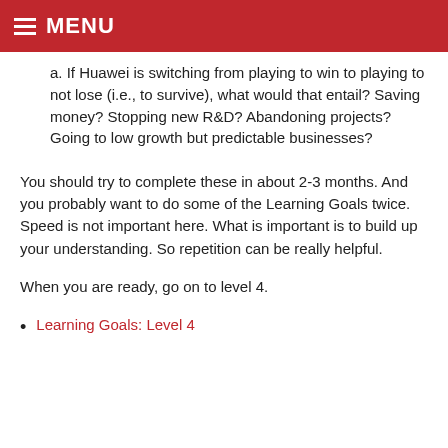MENU
a. If Huawei is switching from playing to win to playing to not lose (i.e., to survive), what would that entail? Saving money? Stopping new R&D? Abandoning projects? Going to low growth but predictable businesses?
You should try to complete these in about 2-3 months. And you probably want to do some of the Learning Goals twice. Speed is not important here. What is important is to build up your understanding. So repetition can be really helpful.
When you are ready, go on to level 4.
Learning Goals: Level 4